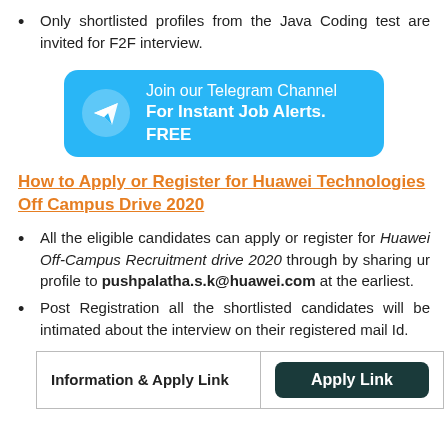Only shortlisted profiles from the Java Coding test are invited for F2F interview.
[Figure (other): Telegram channel button with icon: 'Join our Telegram Channel For Instant Job Alerts. FREE']
How to Apply or Register for Huawei Technologies Off Campus Drive 2020
All the eligible candidates can apply or register for Huawei Off-Campus Recruitment drive 2020 through by sharing ur profile to pushpalatha.s.k@huawei.com at the earliest.
Post Registration all the shortlisted candidates will be intimated about the interview on their registered mail Id.
| Information & Apply Link | Apply Link |
| --- | --- |